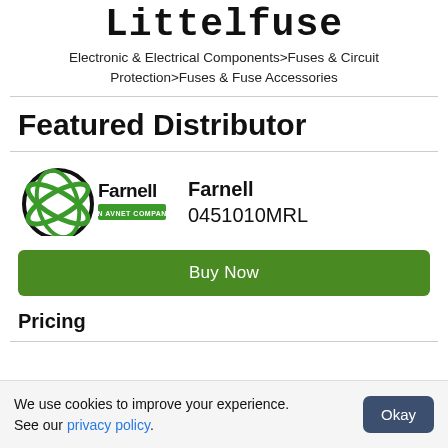Electronic & Electrical Components>Fuses & Circuit Protection>Fuses & Fuse Accessories
Featured Distributor
[Figure (logo): Farnell An Avnet Company logo]
Farnell
0451010MRL
Buy Now
Pricing
We use cookies to improve your experience. See our privacy policy.